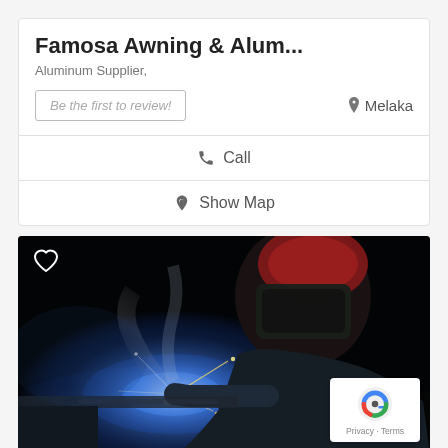Famosa Awning & Alum...
Aluminum Supplier,
Be the first to review!
Melaka
Call
Show Map
[Figure (photo): A welder wearing a protective helmet and gloves, welding metal with bright blue sparks and smoke, dark background, industrial setting.]
Privacy · Terms